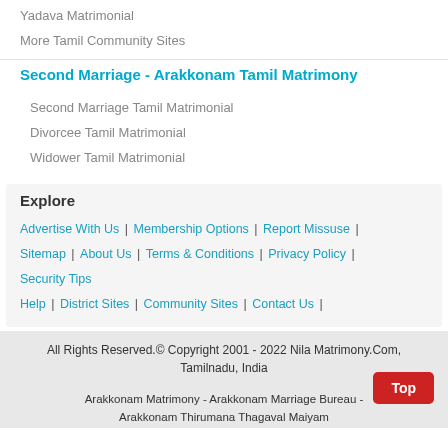Yadava Matrimonial
More Tamil Community Sites
Second Marriage - Arakkonam Tamil Matrimony
Second Marriage Tamil Matrimonial
Divorcee Tamil Matrimonial
Widower Tamil Matrimonial
Explore
Advertise With Us | Membership Options | Report Missuse | Sitemap | About Us | Terms & Conditions | Privacy Policy | Security Tips | Help | District Sites | Community Sites | Contact Us |
All Rights Reserved.© Copyright 2001 - 2022 Nila Matrimony.Com, Tamilnadu, India
Arakkonam Matrimony - Arakkonam Marriage Bureau - Arakkonam Thirumana Thagaval Maiyam